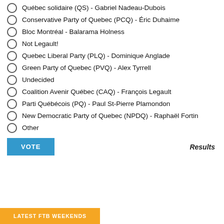Québec solidaire (QS) - Gabriel Nadeau-Dubois
Conservative Party of Quebec (PCQ) - Éric Duhaime
Bloc Montréal - Balarama Holness
Not Legault!
Quebec Liberal Party (PLQ) - Dominique Anglade
Green Party of Quebec (PVQ) - Alex Tyrrell
Undecided
Coalition Avenir Québec (CAQ) - François Legault
Parti Québécois (PQ) - Paul St-Pierre Plamondon
New Democratic Party of Quebec (NPDQ) - Raphaël Fortin
Other
VOTE
Results
LATEST FTB WEEKENDS